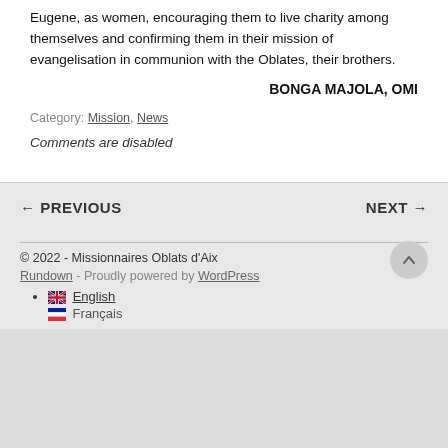Eugene, as women, encouraging them to live charity among themselves and confirming them in their mission of evangelisation in communion with the Oblates, their brothers.
BONGA MAJOLA, OMI
Category: Mission, News
Comments are disabled
← PREVIOUS   NEXT →
© 2022 - Missionnaires Oblats d'Aix
Rundown - Proudly powered by WordPress
🇬🇧 English
Français